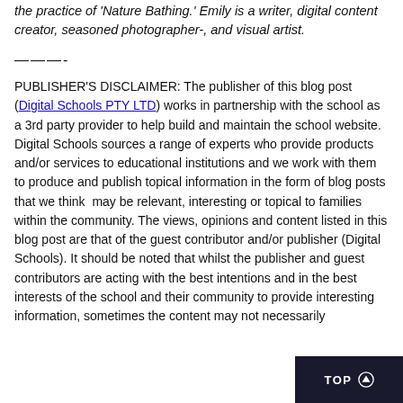the practice of 'Nature Bathing.' Emily is a writer, digital content creator, seasoned photographer-, and visual artist.
———-
PUBLISHER'S DISCLAIMER: The publisher of this blog post (Digital Schools PTY LTD) works in partnership with the school as a 3rd party provider to help build and maintain the school website. Digital Schools sources a range of experts who provide products and/or services to educational institutions and we work with them to produce and publish topical information in the form of blog posts that we think may be relevant, interesting or topical to families within the community. The views, opinions and content listed in this blog post are that of the guest contributor and/or publisher (Digital Schools). It should be noted that whilst the publisher and guest contributors are acting with the best intentions and in the best interests of the school and their community to provide interesting information, sometimes the content may not necessarily